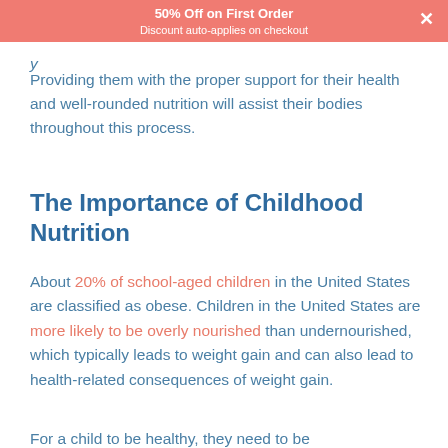50% Off on First Order
Discount auto-applies on checkout
y
Providing them with the proper support for their health and well-rounded nutrition will assist their bodies throughout this process.
The Importance of Childhood Nutrition
About 20% of school-aged children in the United States are classified as obese. Children in the United States are more likely to be overly nourished than undernourished, which typically leads to weight gain and can also lead to health-related consequences of weight gain.
For a child to be healthy, they need to be